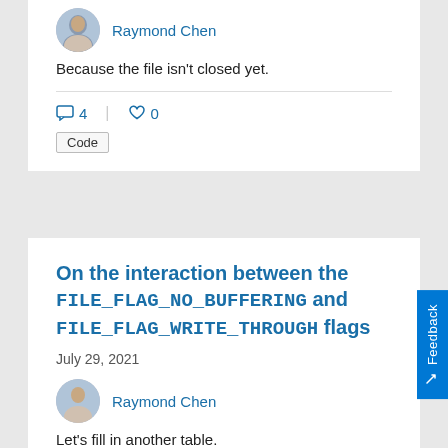[Figure (photo): Avatar photo of Raymond Chen]
Raymond Chen
Because the file isn't closed yet.
4   0
Code
On the interaction between the FILE_FLAG_NO_BUFFERING and FILE_FLAG_WRITE_THROUGH flags
July 29, 2021
[Figure (photo): Avatar photo of Raymond Chen]
Raymond Chen
Let's fill in another table.